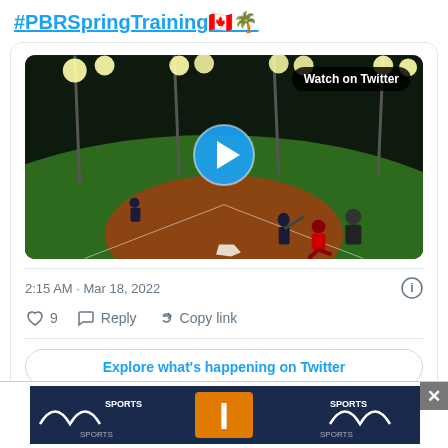#PBRSpringTraining🇨🇦🌴
[Figure (screenshot): Night baseball game video thumbnail with 'Watch on Twitter' badge and blue play button overlay. Shows players at home plate under stadium lights on green turf.]
2:15 AM · Mar 18, 2022
♡ 9   Reply   Copy link
Explore what's happening on Twitter
[Figure (screenshot): Advertisement banner showing Mizuno sports branding with an orange/yellow jersey letter 'I' and sports logos in dark blue background.]